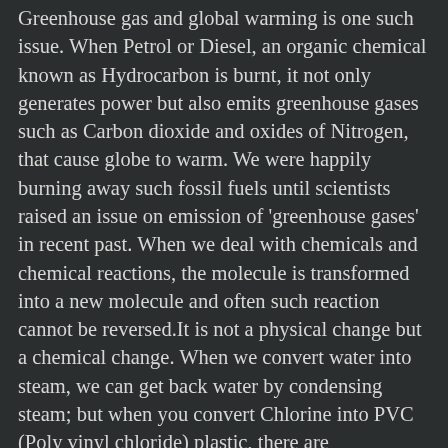Greenhouse gas and global warming is one such issue. When Petrol or Diesel, an organic chemical known as Hydrocarbon is burnt, it not only generates power but also emits greenhouse gases such as Carbon dioxide and oxides of Nitrogen, that cause globe to warm. We were happily burning away such fossil fuels until scientists raised an issue on emission of 'greenhouse gases' in recent past. When we deal with chemicals and chemical reactions, the molecule is transformed into a new molecule and often such reaction cannot be reversed.It is not a physical change but a chemical change. When we convert water into steam, we can get back water by condensing steam; but when you convert Chlorine into PVC (Poly vinyl chloride) plastic, there are environmental consequences and reversing PVC into Chlorine gas in not easy, though it is technically possible with environmental consequences. One has to observe and learn from Nature what is good and what is bad when developing a new technology, because such development will not only affect the environment but also many generations to come. When Nature teaches how to turn sugar into Alcohol by fermentation using air borne microorganisms, we should follow Nature to make alcohol. We know how to turn Alcohol into PVC, but we also know that such choice is a bad choice.